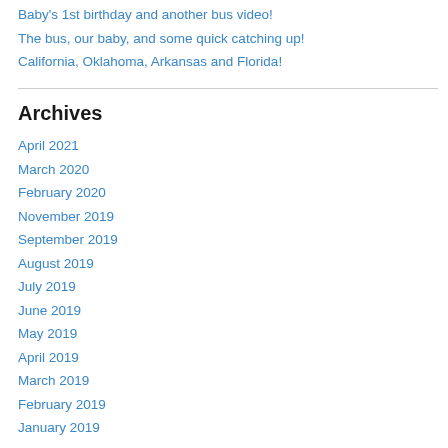Baby's 1st birthday and another bus video!
The bus, our baby, and some quick catching up!
California, Oklahoma, Arkansas and Florida!
Archives
April 2021
March 2020
February 2020
November 2019
September 2019
August 2019
July 2019
June 2019
May 2019
April 2019
March 2019
February 2019
January 2019